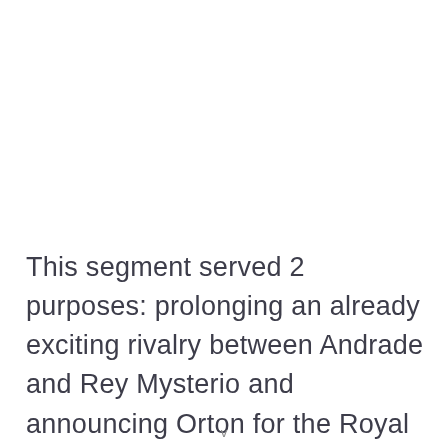This segment served 2 purposes: prolonging an already exciting rivalry between Andrade and Rey Mysterio and announcing Orton for the Royal Rumble match. Interestingly, 3 of the
v